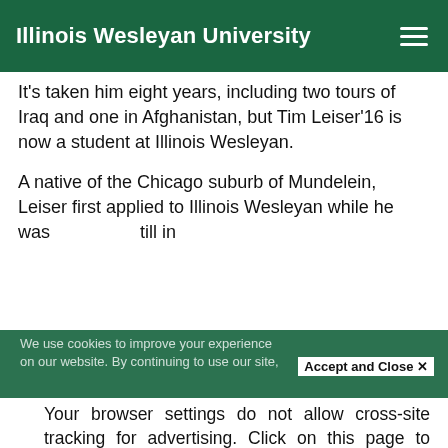Illinois Wesleyan University
It's taken him eight years, including two tours of Iraq and one in Afghanistan, but Tim Leiser’16 is now a student at Illinois Wesleyan.
A native of the Chicago suburb of Mundelein, Leiser first applied to Illinois Wesleyan while he was still in [obscured text]
We use cookies to improve your experience on our website. By continuing to use our site, [obscured]
Accept and Close ×
Your browser settings do not allow cross-site tracking for advertising. Click on this page to allow AdRoll to use cross-site tracking to tailor ads to you. Learn more or opt out of this AdRoll tracking by clicking here. This message only appears once.